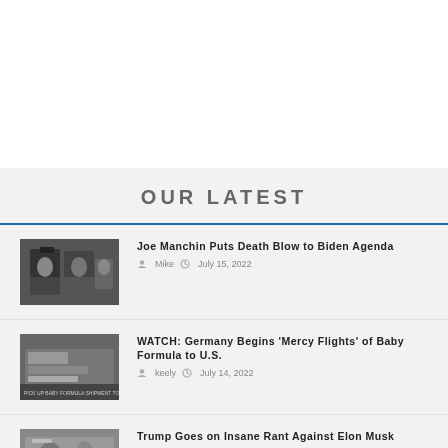OUR LATEST
Joe Manchin Puts Death Blow to Biden Agenda | Mike | July 15, 2022
WATCH: Germany Begins 'Mercy Flights' of Baby Formula to U.S. | keely | July 14, 2022
Trump Goes on Insane Rant Against Elon Musk | Mike | July 13, 2022